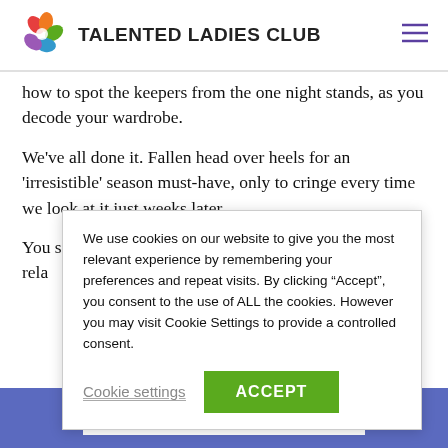TALENTED LADIES CLUB
how to spot the keepers from the one night stands, as you decode your wardrobe.
We've all done it. Fallen head over heels for an 'irresistible' season must-have, only to cringe every time we look at it just weeks later.
You see, much like people, we can't help but have rela[tionships with our clothes. Some are passionat]e po[werful love affairs that inject fire and powe]r and sac[rifices...]
We use cookies on our website to give you the most relevant experience by remembering your preferences and repeat visits. By clicking “Accept”, you consent to the use of ALL the cookies. However you may visit Cookie Settings to provide a controlled consent.
Cookie settings
ACCEPT
HOW MUCH DO YOU